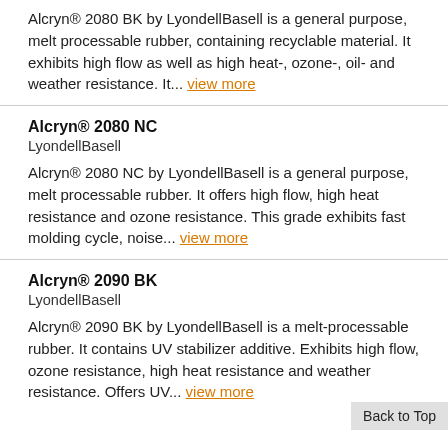Alcryn® 2080 BK by LyondellBasell is a general purpose, melt processable rubber, containing recyclable material. It exhibits high flow as well as high heat-, ozone-, oil- and weather resistance. It... view more
Alcryn® 2080 NC
LyondellBasell
Alcryn® 2080 NC by LyondellBasell is a general purpose, melt processable rubber. It offers high flow, high heat resistance and ozone resistance. This grade exhibits fast molding cycle, noise... view more
Alcryn® 2090 BK
LyondellBasell
Alcryn® 2090 BK by LyondellBasell is a melt-processable rubber. It contains UV stabilizer additive. Exhibits high flow, ozone resistance, high heat resistance and weather resistance. Offers UV... view more